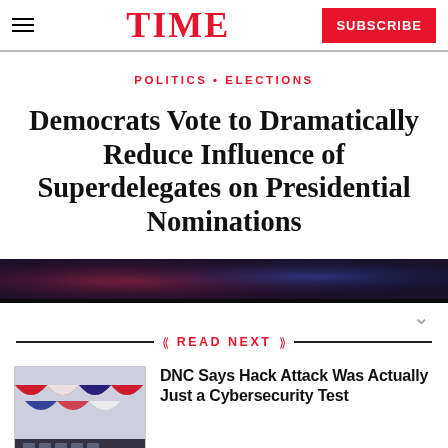TIME | SUBSCRIBE
POLITICS • ELECTIONS
Democrats Vote to Dramatically Reduce Influence of Superdelegates on Presidential Nominations
[Figure (photo): Dark patriotic banner with red, white and blue colors]
READ NEXT
[Figure (photo): Photo of patriotic bunting/flags with red, white and blue colors, DNC related event]
DNC Says Hack Attack Was Actually Just a Cybersecurity Test